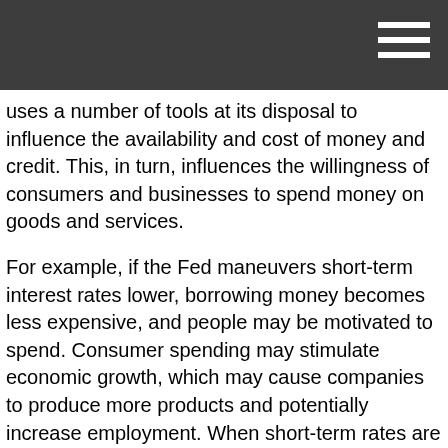uses a number of tools at its disposal to influence the availability and cost of money and credit. This, in turn, influences the willingness of consumers and businesses to spend money on goods and services.
For example, if the Fed maneuvers short-term interest rates lower, borrowing money becomes less expensive, and people may be motivated to spend. Consumer spending may stimulate economic growth, which may cause companies to produce more products and potentially increase employment. When short-term rates are low, the Fed closely monitors economic activity to watch for signs of rising prices.
On the other hand, if the Fed pushes short-term rates higher, borrowing money becomes more expensive, and people may be less motivated to spend. This may, in turn, slow economic growth and cause companies to decrease employment. When